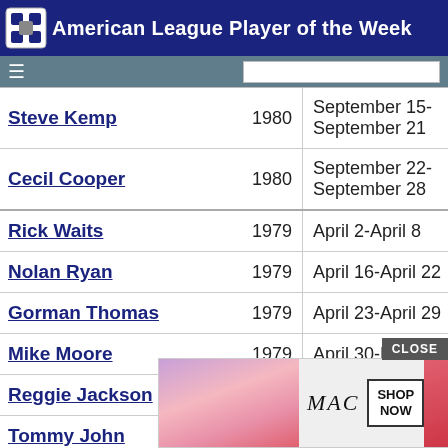American League Player of the Week
| Player | Year | Dates |
| --- | --- | --- |
| Steve Kemp | 1980 | September 15-September 21 |
| Cecil Cooper | 1980 | September 22-September 28 |
| Rick Waits | 1979 | April 2-April 8 |
| Nolan Ryan | 1979 | April 16-April 22 |
| Gorman Thomas | 1979 | April 23-April 29 |
| Mike Moore | 1979 | April 30-May 6 |
| Reggie Jackson | 1979 | May 7-May 13 |
| Tommy John | 1979 | May 14-May 20 |
| George Brett | 1979 | May 21-May 27 |
| Lance Parrish | 1979 | May 28-June 3 |
| Jim Rice | 1979 | June 4-June 10 |
| Buddy ... | 1979 | ... |
| Fred L... | 1979 | ... |
[Figure (other): MAC lipstick advertisement banner with SHOP NOW button and colorful lipsticks]